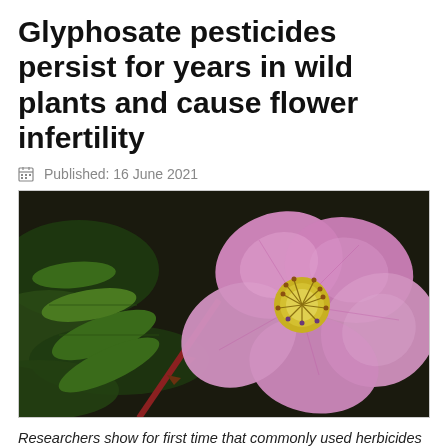Glyphosate pesticides persist for years in wild plants and cause flower infertility
Published: 16 June 2021
[Figure (photo): Close-up photograph of a pink wild rose flower (Rosa species) with five petals, yellow stamens at center, and green leaves visible against a dark background.]
Researchers show for first time that commonly used herbicides can persist within wild forest plants for years, reducing fertility and causing potential...